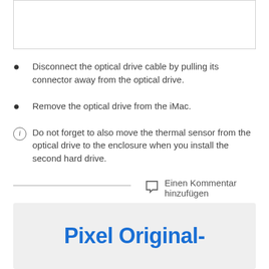[Figure (other): Partial image placeholder at top of page]
Disconnect the optical drive cable by pulling its connector away from the optical drive.
Remove the optical drive from the iMac.
Do not forget to also move the thermal sensor from the optical drive to the enclosure when you install the second hard drive.
Einen Kommentar hinzufügen
Pixel Original-